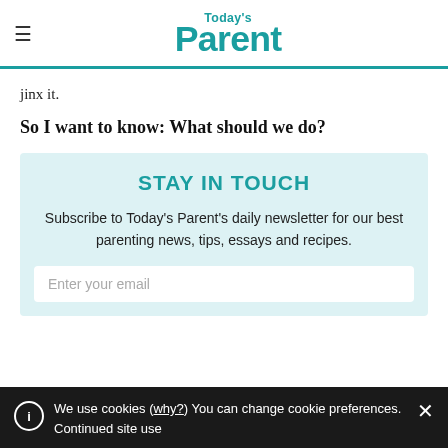Today's Parent
jinx it.
So I want to know: What should we do?
STAY IN TOUCH
Subscribe to Today's Parent's daily newsletter for our best parenting news, tips, essays and recipes.
Enter your email
We use cookies (why?) You can change cookie preferences. Continued site use